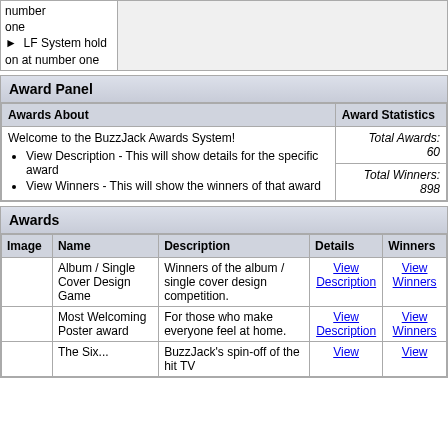|  |  |
| --- | --- |
| number one
▶  LF System hold on at number one |  |
Award Panel
| Awards About | Award Statistics |
| --- | --- |
| Welcome to the BuzzJack Awards System!
• View Description - This will show details for the specific award
• View Winners - This will show the winners of that award | Total Awards: 60
Total Winners: 898 |
Awards
| Image | Name | Description | Details | Winners |
| --- | --- | --- | --- | --- |
|  | Album / Single Cover Design Game | Winners of the album / single cover design competition. | View Description | View Winners |
|  | Most Welcoming Poster award | For those who make everyone feel at home. | View Description | View Winners |
|  | The Six... | BuzzJack's spin-off of the hit TV | View | View |